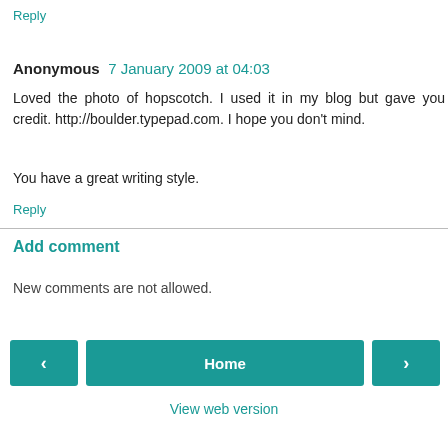Reply
Anonymous  7 January 2009 at 04:03
Loved the photo of hopscotch. I used it in my blog but gave you credit. http://boulder.typepad.com. I hope you don't mind.
You have a great writing style.
Reply
Add comment
New comments are not allowed.
Home
View web version